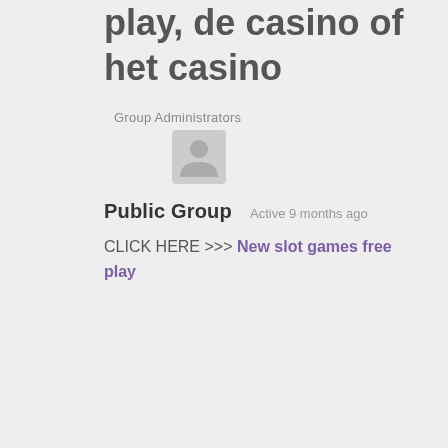play, de casino of het casino
Group Administrators
[Figure (illustration): Default user avatar icon — grey silhouette of a person on a light grey rounded square background]
Public Group   Active 9 months ago
CLICK HERE >>> New slot games free play